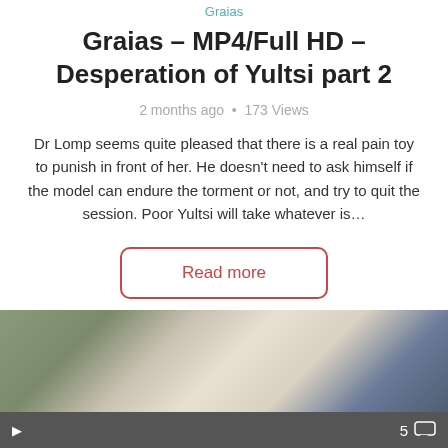Graias
Graias – MP4/Full HD – Desperation of Yultsi part 2
2 months ago • 173 Views
Dr Lomp seems quite pleased that there is a real pain toy to punish in front of her. He doesn't need to ask himself if the model can endure the torment or not, and try to quit the session. Poor Yultsi will take whatever is…
Read more
[Figure (photo): A photo showing a person bent over, wearing white shorts and a gray top, with another person standing nearby in jeans.]
5